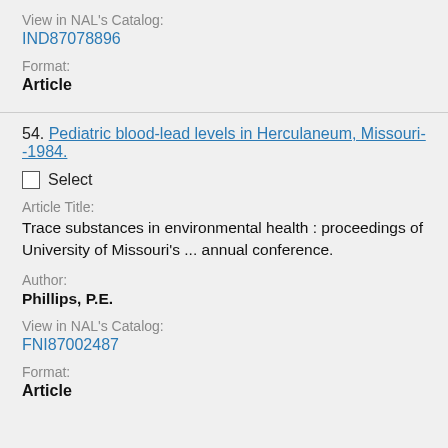View in NAL's Catalog:
IND87078896
Format:
Article
54. Pediatric blood-lead levels in Herculaneum, Missouri--1984.
Select
Article Title:
Trace substances in environmental health : proceedings of University of Missouri's ... annual conference.
Author:
Phillips, P.E.
View in NAL's Catalog:
FNI87002487
Format:
Article